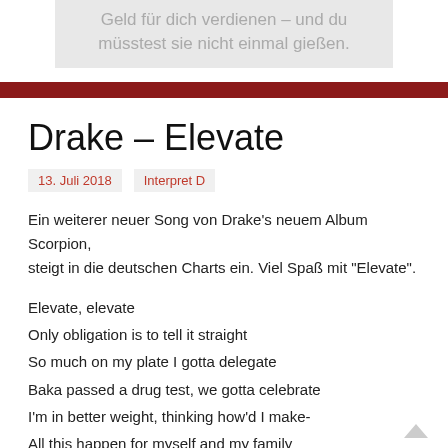Geld für dich verdienen – und du müsstest sie nicht einmal gießen.
Drake – Elevate
13. Juli 2018   Interpret D
Ein weiterer neuer Song von Drake's neuem Album Scorpion, steigt in die deutschen Charts ein. Viel Spaß mit "Elevate".
Elevate, elevate
Only obligation is to tell it straight
So much on my plate I gotta delegate
Baka passed a drug test, we gotta celebrate
I'm in better weight, thinking how'd I make-
All this happen for myself and my family
All this happen for myself and my family